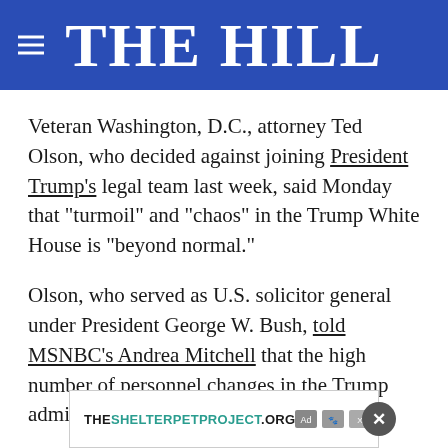THE HILL
Veteran Washington, D.C., attorney Ted Olson, who decided against joining President Trump's legal team last week, said Monday that “turmoil” and “chaos” in the Trump White House is “beyond normal.”
Olson, who served as U.S. solicitor general under President George W. Bush, told MSNBC’s Andrea Mitchell that the high number of personnel changes in the Trump administration
[Figure (screenshot): Advertisement banner for THESHELTERPETPROJECT.ORG with close button overlay]